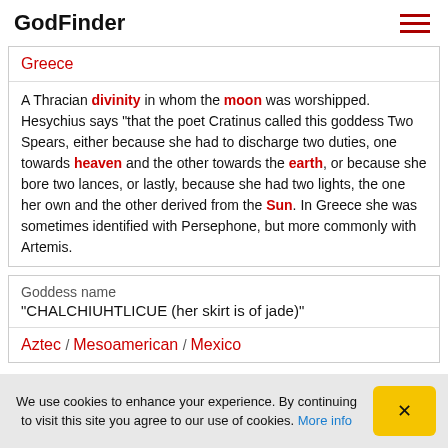GodFinder
Greece
A Thracian divinity in whom the moon was worshipped. Hesychius says "that the poet Cratinus called this goddess Two Spears, either because she had to discharge two duties, one towards heaven and the other towards the earth, or because she bore two lances, or lastly, because she had two lights, the one her own and the other derived from the Sun. In Greece she was sometimes identified with Persephone, but more commonly with Artemis.
Goddess name
"CHALCHIUHTLICUE (her skirt is of jade)"
Aztec / Mesoamerican / Mexico
We use cookies to enhance your experience. By continuing to visit this site you agree to our use of cookies. More info